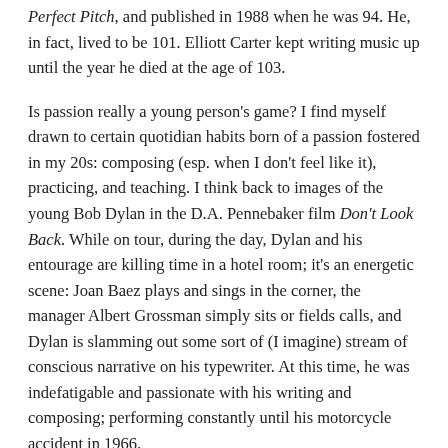Perfect Pitch, and published in 1988 when he was 94. He, in fact, lived to be 101. Elliott Carter kept writing music up until the year he died at the age of 103.
Is passion really a young person's game? I find myself drawn to certain quotidian habits born of a passion fostered in my 20s: composing (esp. when I don't feel like it), practicing, and teaching. I think back to images of the young Bob Dylan in the D.A. Pennebaker film Don't Look Back. While on tour, during the day, Dylan and his entourage are killing time in a hotel room; it's an energetic scene: Joan Baez plays and sings in the corner, the manager Albert Grossman simply sits or fields calls, and Dylan is slamming out some sort of (I imagine) stream of conscious narrative on his typewriter. At this time, he was indefatigable and passionate with his writing and composing; performing constantly until his motorcycle accident in 1966.
I think that viability as a creative artist is self-defined